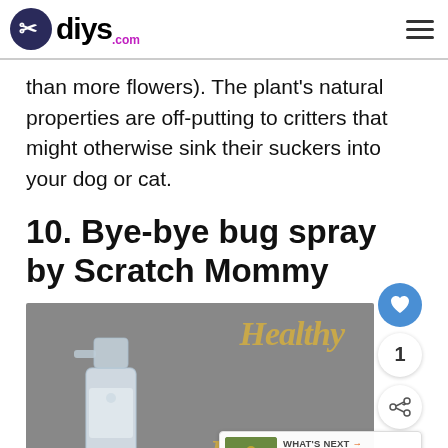diys.com
than more flowers). The plant's natural properties are off-putting to critters that might otherwise sink their suckers into your dog or cat.
10. Bye-bye bug spray by Scratch Mommy
[Figure (photo): Photo of a spray bottle on a gray background with gold italic text reading 'Healthy Bug Spray...' A 'What's Next' overlay shows a thumbnail and text '7 Good Bugs for Your...']